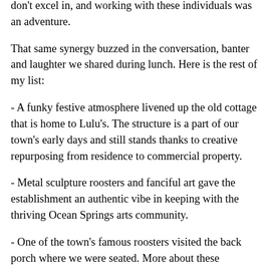don't excel in, and working with these individuals was an adventure.
That same synergy buzzed in the conversation, banter and laughter we shared during lunch. Here is the rest of my list:
- A funky festive atmosphere livened up the old cottage that is home to Lulu's. The structure is a part of our town's early days and still stands thanks to creative repurposing from residence to commercial property.
- Metal sculpture roosters and fanciful art gave the establishment an authentic vibe in keeping with the thriving Ocean Springs arts community.
- One of the town's famous roosters visited the back porch where we were seated. More about these feathered Ocean Springs residents here. I thought I saw a second one behind some shrubbery, but he didn't approach the porch, so I am not certain there was